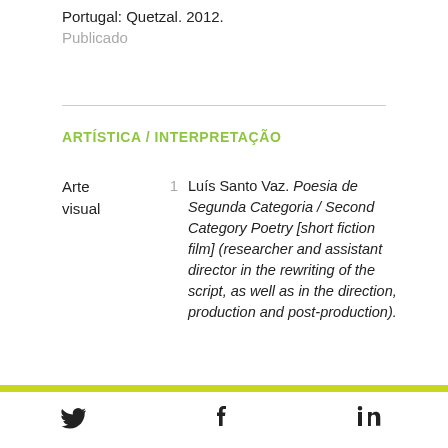Portugal: Quetzal. 2012.
Publicado
ARTÍSTICA / INTERPRETAÇÃO
Arte visual
1
Luís Santo Vaz. Poesia de Segunda Categoria / Second Category Poetry [short fiction film] (researcher and assistant director in the rewriting of the script, as well as in the direction, production and post-production).
Twitter, Facebook, LinkedIn social icons